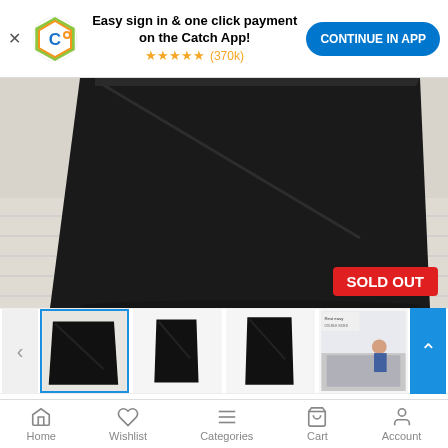Easy sign in & one click payment on the Catch App! ★★★★★ (370k) CONTINUE IN APP
[Figure (photo): Black foldable mattress on white wooden floor, close-up view with SOLD OUT badge in bottom right corner]
[Figure (photo): Thumbnail strip showing 4 product images of black foldable mattress, with left and right navigation arrows]
Giselle Foldable Mattress DOUBLE
Home  Wishlist  Categories  Cart  Account